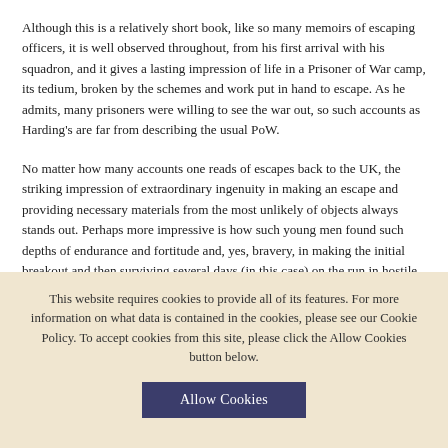Although this is a relatively short book, like so many memoirs of escaping officers, it is well observed throughout, from his first arrival with his squadron, and it gives a lasting impression of life in a Prisoner of War camp, its tedium, broken by the schemes and work put in hand to escape. As he admits, many prisoners were willing to see the war out, so such accounts as Harding's are far from describing the usual PoW.
No matter how many accounts one reads of escapes back to the UK, the striking impression of extraordinary ingenuity in making an escape and providing necessary materials from the most unlikely of objects always stands out. Perhaps more impressive is how such young men found such depths of endurance and fortitude and, yes, bravery, in making the initial breakout and then surviving several days (in this case) on the run in hostile country and with hardly a word of German between the two of them.
This website requires cookies to provide all of its features. For more information on what data is contained in the cookies, please see our Cookie Policy. To accept cookies from this site, please click the Allow Cookies button below.